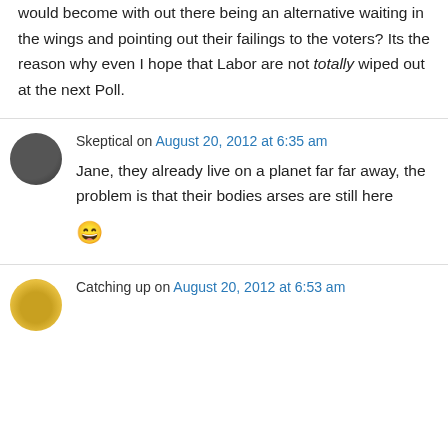would become with out there being an alternative waiting in the wings and pointing out their failings to the voters? Its the reason why even I hope that Labor are not totally wiped out at the next Poll.
Skeptical on August 20, 2012 at 6:35 am
Jane, they already live on a planet far far away, the problem is that their bodies arses are still here 😄
Catching up on August 20, 2012 at 6:53 am